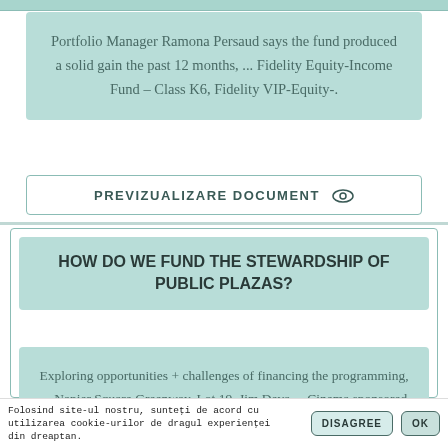Portfolio Manager Ramona Persaud says the fund produced a solid gain the past 12 months, ... Fidelity Equity-Income Fund – Class K6, Fidelity VIP-Equity-.
PREVIZUALIZARE DOCUMENT
HOW DO WE FUND THE STEWARDSHIP OF PUBLIC PLAZAS?
Exploring opportunities + challenges of financing the programming, ... Napier Square Greenway, Lot 19, Jim Deva ... Cinema sponsored by NOW magazine.
Folosind site-ul nostru, sunteți de acord cu utilizarea cookie-urilor de dragul experienței din dreaptan.